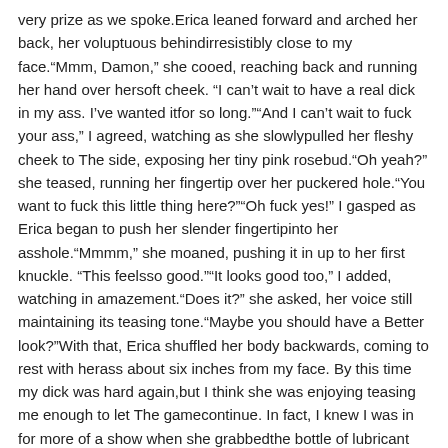very prize as we spoke.Erica leaned forward and arched her back, her voluptuous behindirresistibly close to my face."Mmm, Damon," she cooed, reaching back and running her hand over hersoft cheek. "I can't wait to have a real dick in my ass. I've wanted itfor so long.""And I can't wait to fuck your ass," I agreed, watching as she slowlypulled her fleshy cheek to The side, exposing her tiny pink rosebud."Oh yeah?" she teased, running her fingertip over her puckered hole."You want to fuck this little thing here?""Oh fuck yes!" I gasped as Erica began to push her slender fingertipinto her asshole."Mmmm," she moaned, pushing it in up to her first knuckle. "This feelsso good.""It looks good too," I added, watching in amazement."Does it?" she asked, her voice still maintaining its teasing tone."Maybe you should have a Better look?"With that, Erica shuffled her body backwards, coming to rest with herass about six inches from my face. By this time my dick was hard again,but I think she was enjoying teasing me enough to let The gamecontinue. In fact, I knew I was in for more of a show when she grabbedthe bottle of lubricant and flipped open The cap. I then watched asshe let some of The slippery, clear liquid drip down onto her asshole, making it clench up...